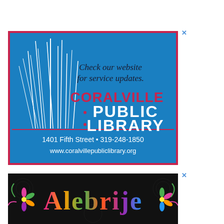[Figure (illustration): Coralville Public Library advertisement with blue background, white reed/grass illustration on left, text 'Check our website for service updates.' in italic, 'CORALVILLE' in red, 'PUBLIC LIBRARY' in white large font, address '1401 Fifth Street • 319-248-1850 www.coralvillepubliclibrary.org' at bottom, pink/magenta border frame]
[Figure (illustration): Alebrije text logo on dark black background with colorful decorative Mexican folk art lettering in pink, green, orange, purple, yellow colors with floral/swirl decorative elements on sides]